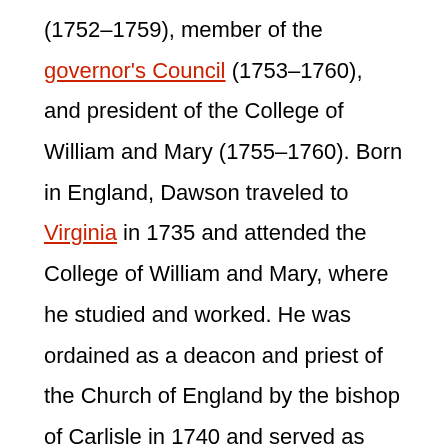(1752–1759), member of the governor's Council (1753–1760), and president of the College of William and Mary (1755–1760). Born in England, Dawson traveled to Virginia in 1735 and attended the College of William and Mary, where he studied and worked. He was ordained as a deacon and priest of the Church of England by the bishop of Carlisle in 1740 and served as rector of the Bruton Parish Church. He was named commissary of the bishop of London on September 21, 1752, and was appointed to the governor's Council in 1753. In 1755 Dawson became president of the College of William and Mary. His popularity among Virginia clergymen declined in the 1750s when he neglected to formally protest the Two Penny Acts; his tenure as president of William and